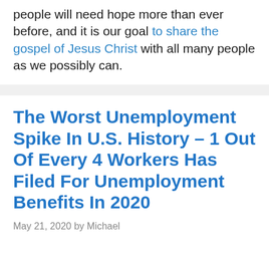people will need hope more than ever before, and it is our goal to share the gospel of Jesus Christ with all many people as we possibly can.
The Worst Unemployment Spike In U.S. History – 1 Out Of Every 4 Workers Has Filed For Unemployment Benefits In 2020
May 21, 2020 by Michael